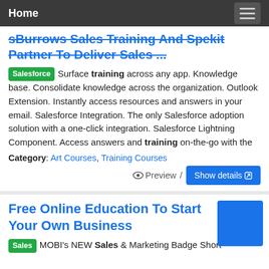Home
sBurrows Sales Training And Spekit Partner To Deliver Sales ...
Salesforce Surface training across any app. Knowledge base. Consolidate knowledge across the organization. Outlook Extension. Instantly access resources and answers in your email. Salesforce Integration. The only Salesforce adoption solution with a one-click integration. Salesforce Lightning Component. Access answers and training on-the-go with the
Category: Art Courses, Training Courses
Preview / Show details
Free Online Education To Start Your Own Business
Sales MOBI's NEW Sales & Marketing Badge Short